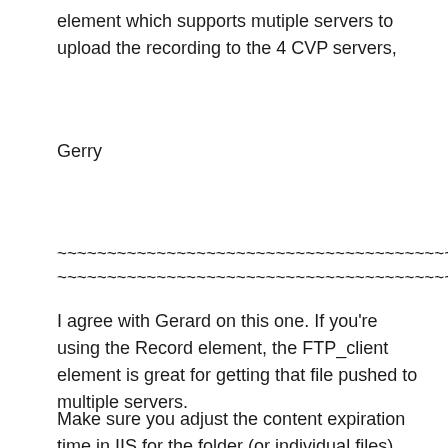element which supports mutiple servers to upload the recording to the 4 CVP servers,
Gerry
~~~~~~~~~~~~~~~~~~~~~~~~~~~~~~~~~~~~~~~~~~~~~~~~~~~~~~~~~~~~~~~~~~~~~~~~~~~~~~~~~~~~~~~~~~~~~~~~
I agree with Gerard on this one. If you're using the Record element, the FTP_client element is great for getting that file pushed to multiple servers.
Make sure you adjust the content expiration time in IIS for the folder (or individual files) you're uploading to, otherwise